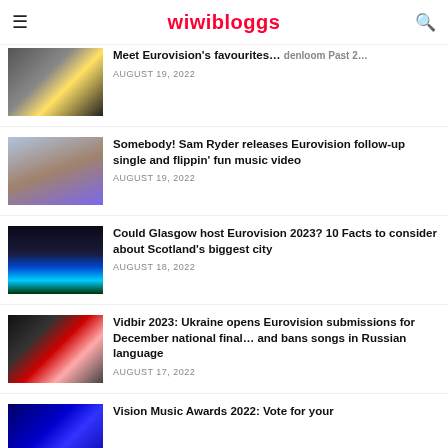wiwibloggs
Meet Eurovision's favourites! [partial] — AUGUST 19, 2022
Somebody! Sam Ryder releases Eurovision follow-up single and flippin' fun music video — AUGUST 19, 2022
Could Glasgow host Eurovision 2023? 10 Facts to consider about Scotland's biggest city — AUGUST 18, 2022
Vidbir 2023: Ukraine opens Eurovision submissions for December national final... and bans songs in Russian language — AUGUST 17, 2022
Vision Music Awards 2022: Vote for your [partial]